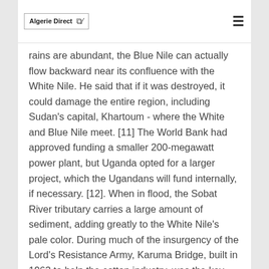Algerie Direct
rains are abundant, the Blue Nile can actually flow backward near its confluence with the White Nile. He said that if it was destroyed, it could damage the entire region, including Sudan's capital, Khartoum - where the White and Blue Nile meet. [11] The World Bank had approved funding a smaller 200-megawatt power plant, but Uganda opted for a larger project, which the Ugandans will fund internally, if necessary. [12]. When in flood, the Sobat River tributary carries a large amount of sediment, adding greatly to the White Nile's pale color. During much of the insurgency of the Lord's Resistance Army, Karuma Bridge, built in 1963 to help the cotton industry, was the key stop on the way to Gulu, where vehicles gathered in convoys before being provided with a